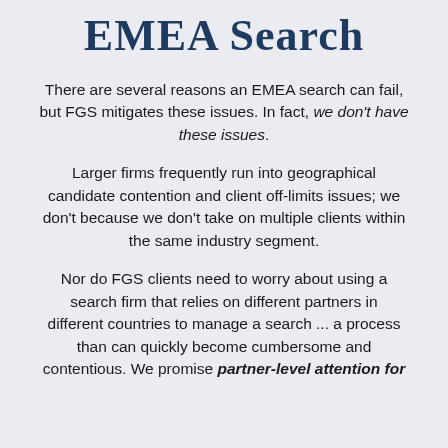EMEA Search
There are several reasons an EMEA search can fail, but FGS mitigates these issues. In fact, we don't have these issues.
Larger firms frequently run into geographical candidate contention and client off-limits issues; we don't because we don't take on multiple clients within the same industry segment.
Nor do FGS clients need to worry about using a search firm that relies on different partners in different countries to manage a search ... a process than can quickly become cumbersome and contentious. We promise partner-level attention for